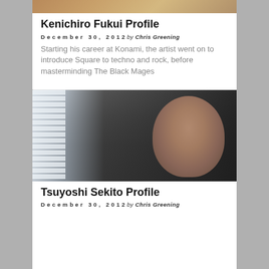[Figure (photo): Top portion of a person photo, partially cropped, showing warm-toned background]
Kenichiro Fukui Profile
December 30, 2012 by Chris Greening
Starting his career at Konami, the artist went on to introduce Square to techno and rock, before masterminding The Black Mages
[Figure (photo): Profile photo of Tsuyoshi Sekito, a man with dark hair in side profile against a dark background with window blinds visible on the left]
Tsuyoshi Sekito Profile
December 30, 2012 by Chris Greening